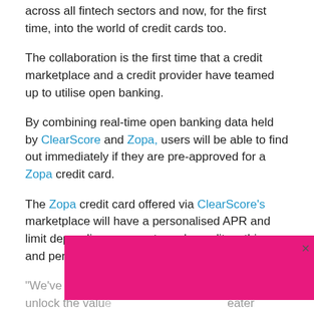across all fintech sectors and now, for the first time, into the world of credit cards too.
The collaboration is the first time that a credit marketplace and a credit provider have teamed up to utilise open banking.
By combining real-time open banking data held by ClearScore and Zopa, users will be able to find out immediately if they are pre-approved for a Zopa credit card.
The Zopa credit card offered via ClearScore's marketplace will have a personalised APR and limit depending on a customer's creditworthiness and personal financial situation.
"We've been working with our partners to truly unlock the value... greater access... only in this day and age," Andy Sleigh, COO of ClearScore told AltFi...
[Figure (other): Pink/magenta modal dialog box with a white dash/minimize icon centered, overlaying the bottom portion of the article text. A close (×) button appears to the right of the modal.]